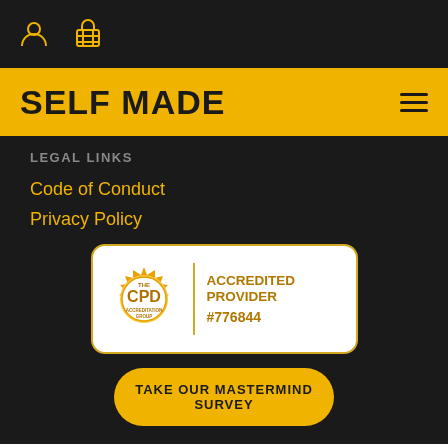SELF MADE
LEGAL LINKS
Code of Conduct
Privacy Policy
[Figure (logo): CPD Accreditation Group badge — ACCREDITED PROVIDER #776844]
TAKE OUR MASTERMIND SURVEY
This website uses cookies to improve your experience. If you continue to use this site, you agree with it. Privacy Policy
OKAY, THANK YOU